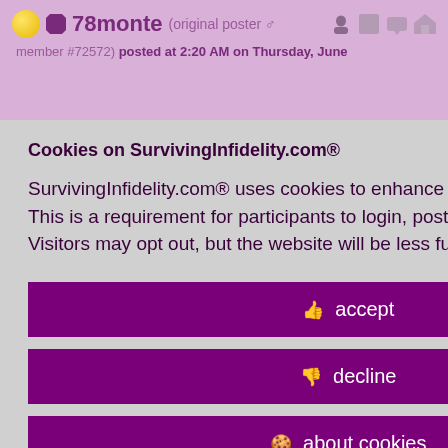78monte (original poster ♂ member #72572) posted at 2:20 AM on Thursday, June
Cookies on SurvivingInfidelity.com®
SurvivingInfidelity.com® uses cookies to enhance your visit to our website. This is a requirement for participants to login, post and use other features. Visitors may opt out, but the website will be less functional for you.
accept
decline
about cookies
id 8741481
Policy